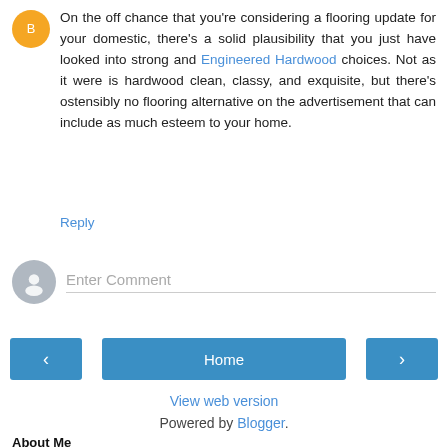On the off chance that you're considering a flooring update for your domestic, there's a solid plausibility that you just have looked into strong and Engineered Hardwood choices. Not as it were is hardwood clean, classy, and exquisite, but there's ostensibly no flooring alternative on the advertisement that can include as much esteem to your home.
Reply
Enter Comment
Home
View web version
Powered by Blogger.
About Me